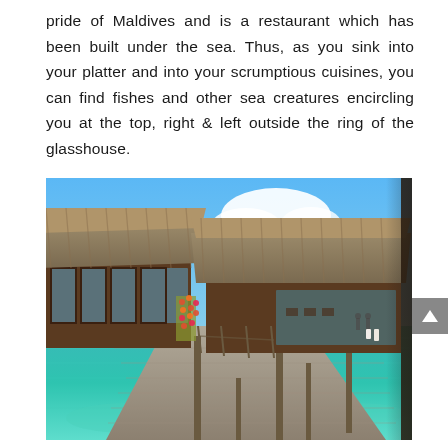pride of Maldives and is a restaurant which has been built under the sea. Thus, as you sink into your platter and into your scrumptious cuisines, you can find fishes and other sea creatures encircling you at the top, right & left outside the ring of the glasshouse.
[Figure (photo): Overwater bungalows in the Maldives with thatched roofs, wooden walkways over clear turquoise water, blue sky with clouds in the background.]